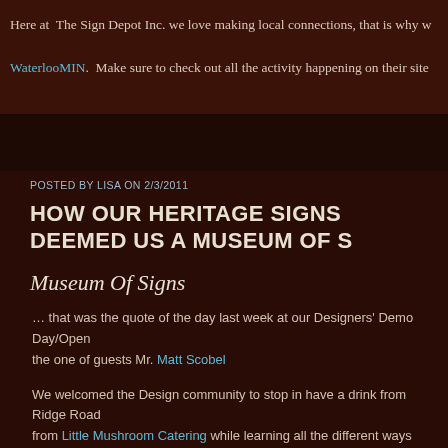Here at The Sign Depot Inc. we love making local connections, that is why w... WaterlooMIN. Make sure to check out all the activity happening on their site ...
POSTED BY LISA ON 2/3/2011
HOW OUR HERITAGE SIGNS DEEMED US A MUSEUM OF S...
Museum Of Signs
… that was the quote of the day last week at our Designers' Demo Day/Open... the one of guests Mr. Matt Scobel
We welcomed the Design community to stop in have a drink from Ridge Road... from Little Mushroom Catering while learning all the different ways they could... clients portforlios. By reaching out to the design community we found a way t... looking for unique items that they could offer their clients. By holding this ope... were able to let them know about many sign materials and substrates that we... sign finishing techniques we use.